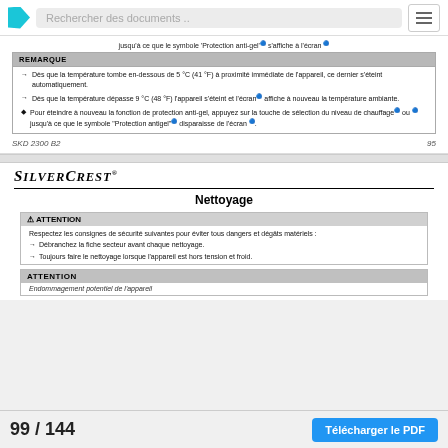Rechercher des documents ..
jusqu'à ce que le symbole 'Protection anti-gel' s'affiche à l'écran
REMARQUE
Dès que la température tombe en-dessous de 5 °C (41 °F) à proximité immédiate de l'appareil, ce dernier s'éteint automatiquement.
Dès que la température dépasse 9 °C (48 °F) l'appareil s'éteint et l'écran affiche à nouveau la température ambiante.
Pour éteindre à nouveau la fonction de protection anti-gel, appuyez sur la touche de sélection du niveau de chauffage ou jusqu'à ce que le symbole 'Protection antigel' disparaisse de l'écran.
SKD 2300 B2   95
SILVERCREST®
Nettoyage
⚠ ATTENTION
Respectez les consignes de sécurité suivantes pour éviter tous dangers et dégâts matériels :
Débranchez la fiche secteur avant chaque nettoyage.
Toujours faire le nettoyage lorsque l'appareil est hors tension et froid.
ATTENTION
Endommagement potentiel de l'appareil
99 / 144
Télécharger le PDF